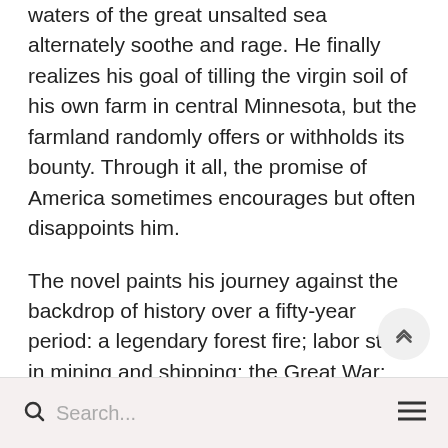waters of the great unsalted sea alternately soothe and rage. He finally realizes his goal of tilling the virgin soil of his own farm in central Minnesota, but the farmland randomly offers or withholds its bounty. Through it all, the promise of America sometimes encourages but often disappoints him.
The novel paints his journey against the backdrop of history over a fifty-year period: a legendary forest fire; labor strife in mining and shipping; the Great War; the nativist, labor-bashing, intolerant Red Scare; mid-America's flirtation with the Ku Klux Klan; progressive prairie populism; and the Great Depression. Tribalism—religious, economic, cultural, political, and ethnic—posts roadblocks and causes detours in his journey to the American dream.
Search...